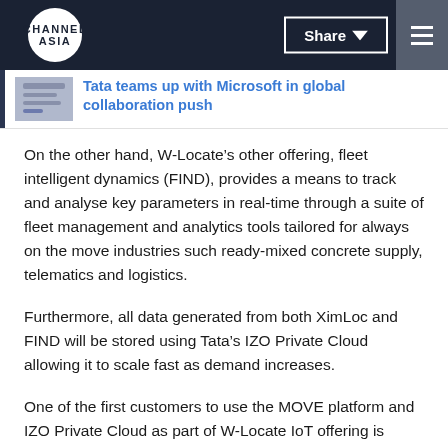CHANNEL ASIA
Tata teams up with Microsoft in global collaboration push
On the other hand, W-Locate’s other offering, fleet intelligent dynamics (FIND), provides a means to track and analyse key parameters in real-time through a suite of fleet management and analytics tools tailored for always on the move industries such ready-mixed concrete supply, telematics and logistics.
Furthermore, all data generated from both XimLoc and FIND will be stored using Tata’s IZO Private Cloud allowing it to scale fast as demand increases.
One of the first customers to use the MOVE platform and IZO Private Cloud as part of W-Locate IoT offering is building